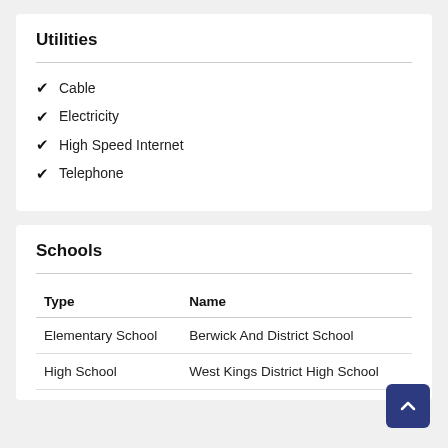Utilities
Cable
Electricity
High Speed Internet
Telephone
Schools
| Type | Name |
| --- | --- |
| Elementary School | Berwick And District School |
| High School | West Kings District High School |